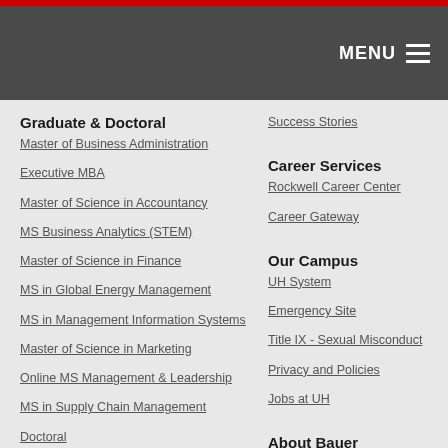MENU
Graduate & Doctoral
Master of Business Administration
Executive MBA
Master of Science in Accountancy
MS Business Analytics (STEM)
Master of Science in Finance
MS in Global Energy Management
MS in Management Information Systems
Master of Science in Marketing
Online MS Management & Leadership
MS in Supply Chain Management
Doctoral
Executive
Success Stories
Career Services
Rockwell Career Center
Career Gateway
Our Campus
UH System
Emergency Site
Title IX - Sexual Misconduct
Privacy and Policies
Jobs at UH
About Bauer
Our Message
Our Name
Our Story